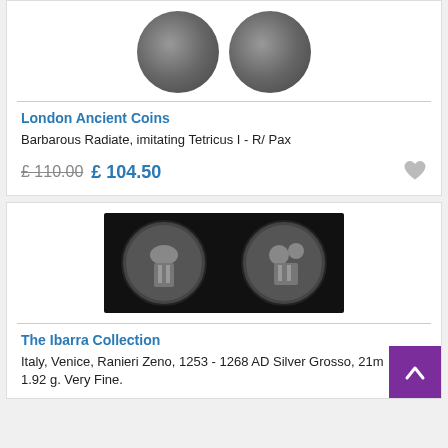[Figure (photo): Two sides of an ancient coin (Barbarous Radiate imitating Tetricus I) shown at top, partially cropped]
London Ancient Coins
Barbarous Radiate, imitating Tetricus I - R/ Pax
£ 110.00  £ 104.50
[Figure (photo): Two sides of a medieval silver coin - Italy, Venice, Ranieri Zeno, 1253-1268 AD Silver Grosso, shown on black background]
The Ibarra Collection
Italy, Venice, Ranieri Zeno, 1253 - 1268 AD Silver Grosso, 21m... 1.92 g. Very Fine.